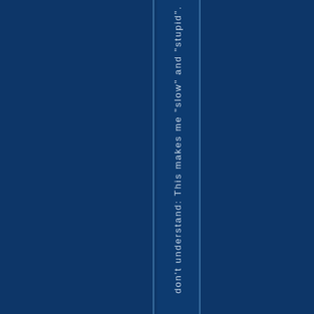don't understand: This makes me "slow" and "stupid".